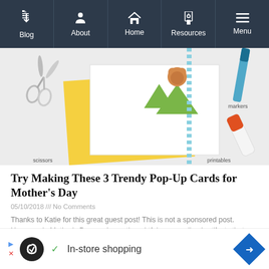Blog | About | Home | Resources | Menu
[Figure (photo): Craft supplies photo showing scissors, printable cards with tree and bear designs, blue dotted ribbon/trim, markers, and a glue stick on a white background with yellow card stock.]
Try Making These 3 Trendy Pop-Up Cards for Mother's Day
05/10/2018 /// No Comments
Thanks to Katie for this great guest post! This is not a sponsored post. Homemade Mother's Day cards are thoughtful, personalized artifacts that mom can
Read More »
[Figure (screenshot): Advertisement banner with Infinity Loop logo, checkmark, 'In-store shopping' text, and blue diamond navigation arrow icon.]